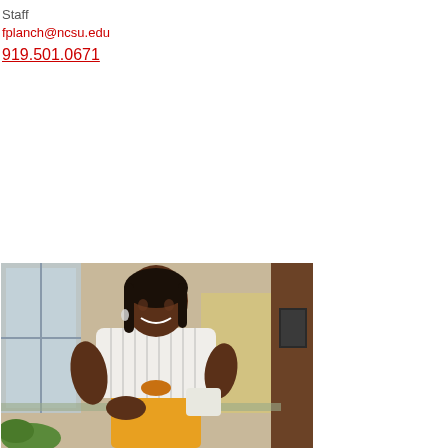Staff
fplanch@ncsu.edu
919.501.0671
[Figure (photo): A woman smiling, wearing a white striped blouse and yellow high-waisted pants, standing in what appears to be a building atrium or corridor.]